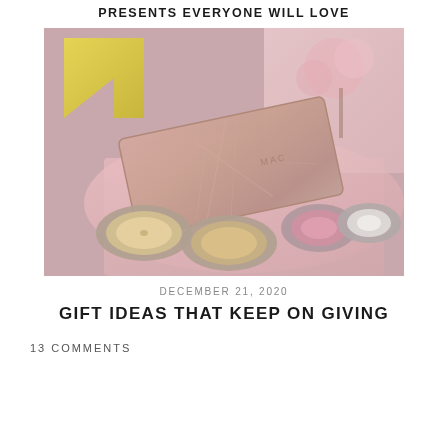PRESENTS EVERYONE WILL LOVE
[Figure (photo): Flatlay photo of makeup gift items including a rose gold glitter MAC palette box, several open eyeshadow compacts, pink shredded paper filler, and decorative backgrounds with pink cherry blossom trees and a pink bicycle.]
DECEMBER 21, 2020
GIFT IDEAS THAT KEEP ON GIVING
13 COMMENTS